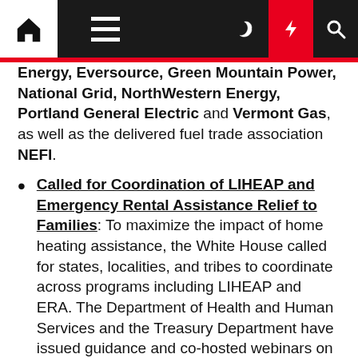Navigation bar with home, menu, moon, bolt, and search icons
Energy, Eversource, Green Mountain Power, National Grid, NorthWestern Energy, Portland General Electric and Vermont Gas, as well as the delivered fuel trade association NEFI.
Called for Coordination of LIHEAP and Emergency Rental Assistance Relief to Families: To maximize the impact of home heating assistance, the White House called for states, localities, and tribes to coordinate across programs including LIHEAP and ERA. The Department of Health and Human Services and the Treasury Department have issued guidance and co-hosted webinars on LIHEAP and ERA best practices that help the local...